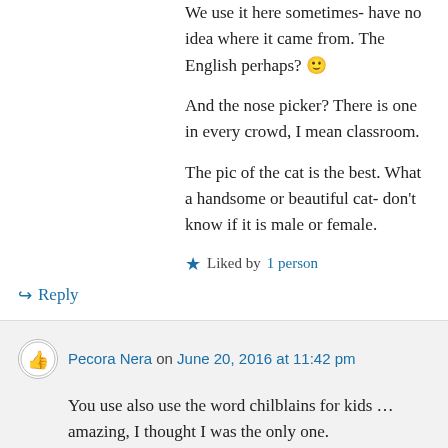We use it here sometimes- have no idea where it came from. The English perhaps? 🙂
And the nose picker? There is one in every crowd, I mean classroom.
The pic of the cat is the best. What a handsome or beautiful cat- don't know if it is male or female.
★ Liked by 1 person
↪ Reply
Pecora Nera on June 20, 2016 at 11:42 pm
You use also use the word chilblains for kids … amazing, I thought I was the only one.
This entry was...